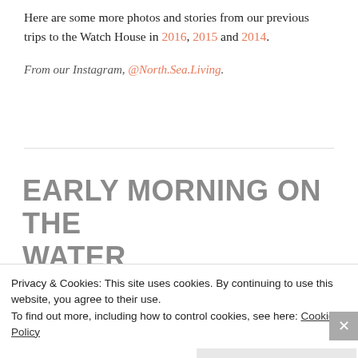Here are some more photos and stories from our previous trips to the Watch House in 2016, 2015 and 2014.
From our Instagram, @North.Sea.Living.
EARLY MORNING ON THE WATER
OCTOBER 12, 2017 | MICHELLE
Privacy & Cookies: This site uses cookies. By continuing to use this website, you agree to their use.
To find out more, including how to control cookies, see here: Cookie Policy
Close and accept